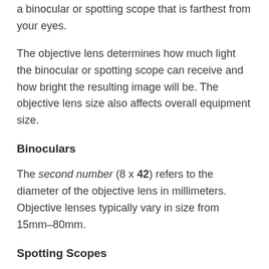a binocular or spotting scope that is farthest from your eyes.
The objective lens determines how much light the binocular or spotting scope can receive and how bright the resulting image will be. The objective lens size also affects overall equipment size.
Binoculars
The second number (8 x 42) refers to the diameter of the objective lens in millimeters. Objective lenses typically vary in size from 15mm–80mm.
Spotting Scopes
The last number (20–60 x 80) refers to the diameter of the objective lens in